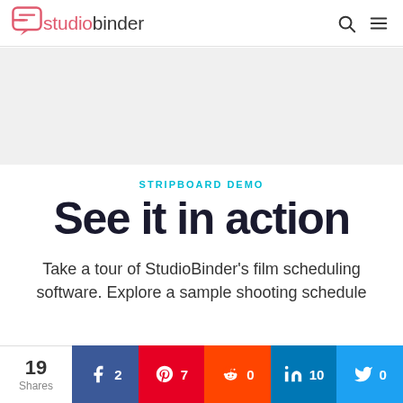studiobinder
[Figure (other): Gray/white placeholder content area]
STRIPBOARD DEMO
See it in action
Take a tour of StudioBinder's film scheduling software. Explore a sample shooting schedule
19 Shares | Facebook 2 | Pinterest 7 | Reddit 0 | LinkedIn 10 | Twitter 0